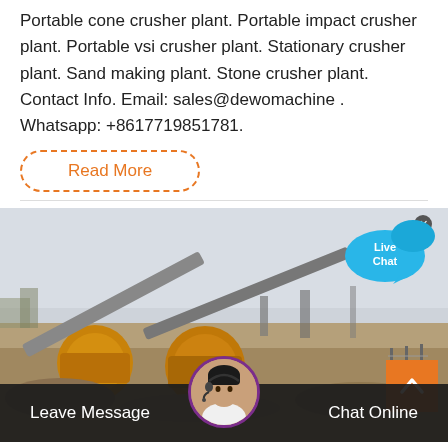Portable cone crusher plant. Portable impact crusher plant. Portable vsi crusher plant. Stationary crusher plant. Sand making plant. Stone crusher plant. Contact Info. Email: sales@dewomachine . Whatsapp: +8617719851781.
Read More
[Figure (photo): Outdoor industrial crusher plant site with yellow mobile crushers and conveyor belts on dusty terrain under hazy sky.]
[Figure (other): Live Chat speech bubble widget with blue color and 'x' close button.]
Leave Message
Chat Online